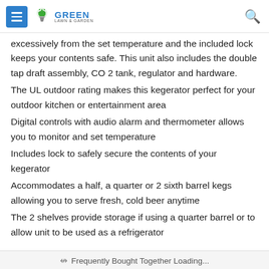GREEN LAWN & GARDEN
excessively from the set temperature and the included lock keeps your contents safe. This unit also includes the double tap draft assembly, CO2 tank, regulator and hardware.
The UL outdoor rating makes this kegerator perfect for your outdoor kitchen or entertainment area
Digital controls with audio alarm and thermometer allows you to monitor and set temperature
Includes lock to safely secure the contents of your kegerator
Accommodates a half, a quarter or 2 sixth barrel kegs allowing you to serve fresh, cold beer anytime
The 2 shelves provide storage if using a quarter barrel or to allow unit to be used as a refrigerator
Frequently Bought Together Loading...